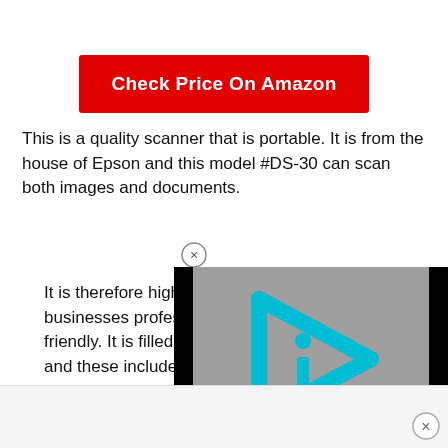[Figure (other): Red button with text 'Check Price On Amazon']
This is a quality scanner that is portable. It is from the house of Epson and this model #DS-30 can scan both images and documents.
[Figure (screenshot): Video player overlay with cyan/blue play button icon (triangle with 'i' inside) on gray background, black borders on sides. Small X close button above it.]
It is therefore highly recommended for businesses professionals and it is user-friendly. It is filled with amazing features and these include the ability to scan to cloud.